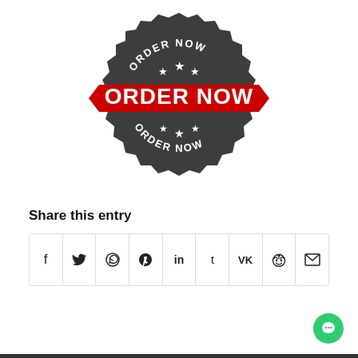[Figure (illustration): A dark grey badge/seal with jagged edges and a red ribbon banner across the middle. The badge reads 'ORDER NOW' in an arc at the top with three stars, 'ORDER NOW' in large bold white text on the red banner, and 'ORDER NOW' in an arc at the bottom with three stars.]
Share this entry
[Figure (infographic): A row of social media sharing icons in bordered boxes: Facebook, Twitter, WhatsApp, Pinterest, LinkedIn, Tumblr, VK, Reddit, Email]